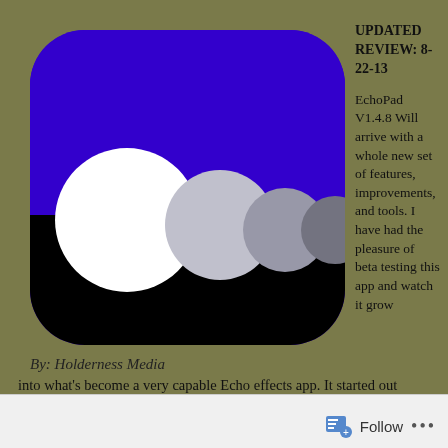[Figure (logo): EchoPad app icon: rounded square with blue top half and black bottom half, featuring four circles (white, light gray, medium gray, dark gray) arranged horizontally across the middle]
By: Holderness Media
UPDATED REVIEW: 8-22-13
EchoPad V1.4.8 Will arrive with a whole new set of features, improvements, and tools. I have had the pleasure of beta testing this app and watch it grow into what's become a very capable Echo effects app. It started out